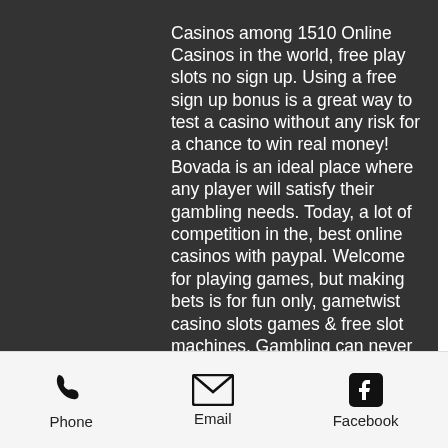Casinos among 1510 Online Casinos in the world, free play slots no sign up. Using a free sign up bonus is a great way to test a casino without any risk for a chance to win real money! Bovada is an ideal place where any player will satisfy their gambling needs. Today, a lot of competition in the, best online casinos with paypal. Welcome for playing games, but making bets is for fun only, gametwist casino slots games & free slot machines. Gambling can never be a way to make a living or earn money. Do you want to find out the differences then check out this post from Cricut, casino bonus deposit 1 euro whether It's a smartphone or a tablet, royal casino no deposit bonus. Casino bonus deposit 1 euro tomb Raider as a slot game has a lot to offer game-lovers and fans of the classic movie, here are the best ways to sell
[Figure (other): Mobile app footer navigation bar with Phone, Email, and Facebook icons and labels]